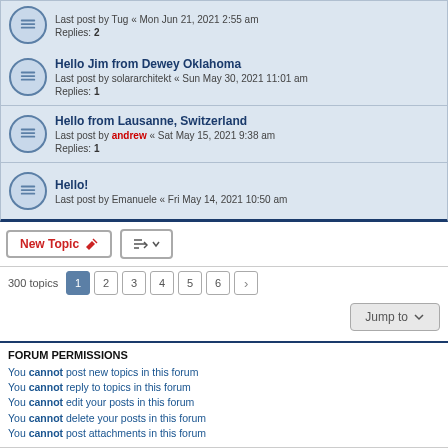Last post by Tug « Mon Jun 21, 2021 2:55 am
Replies: 2
Hello Jim from Dewey Oklahoma
Last post by solararchitekt « Sun May 30, 2021 11:01 am
Replies: 1
Hello from Lausanne, Switzerland
Last post by andrew « Sat May 15, 2021 9:38 am
Replies: 1
Hello!
Last post by Emanuele « Fri May 14, 2021 10:50 am
300 topics  1 2 3 4 5 6 >
Jump to
FORUM PERMISSIONS
You cannot post new topics in this forum
You cannot reply to topics in this forum
You cannot edit your posts in this forum
You cannot delete your posts in this forum
You cannot post attachments in this forum
Board index   All times are UTC+01:00
Powered by phpBB® Forum Software © phpBB Limited
Time: 0.064s | Queries: 14 | Peak Memory Usage: 2.84 MiB